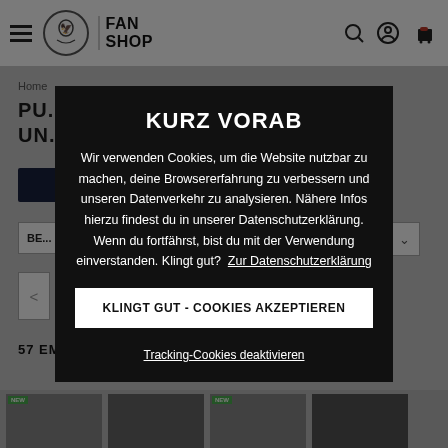[Figure (screenshot): DFB Fan Shop website navigation bar with hamburger menu, eagle logo in circle, FAN SHOP text, and icons for search and cart on right]
Home
PU... UN...
KURZ VORAB
Wir verwenden Cookies, um die Website nutzbar zu machen, deine Browsererfahrung zu verbessern und unseren Datenverkehr zu analysieren. Nähere Infos hierzu findest du in unserer Datenschutzerklärung. Wenn du fortfährst, bist du mit der Verwendung einverstanden. Klingt gut?  Zur Datenschutzerklärung
KLINGT GUT - COOKIES AKZEPTIEREN
Tracking-Cookies deaktivieren
BE...
57 EMPFEHLUNGEN